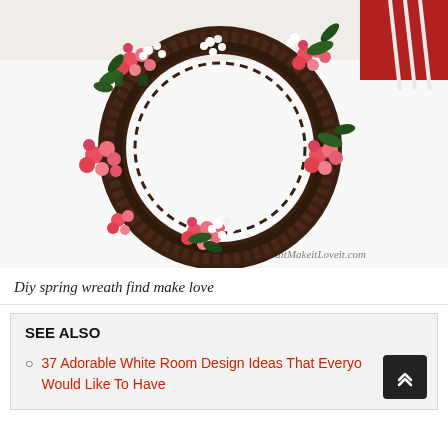[Figure (photo): A grapevine wreath decorated with pink/coral flowers and white small blossoms with green leaves, photographed on a white surface. Watermark reads 'FinditMakeitLoveit.com' in lower right corner.]
Diy spring wreath find make love
SEE ALSO
37 Adorable White Room Design Ideas That Everyone Would Like To Have